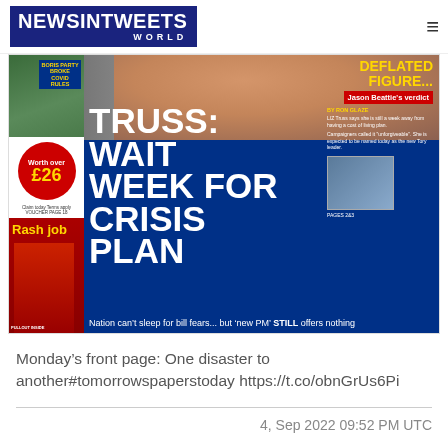NEWSINTWEETS WORLD
[Figure (photo): Newspaper front page screenshot. Main headline: TRUSS: WAIT WEEK FOR CRISIS PLAN. Top right: DEFLATED FIGURE... Jason Beattie's verdict. Top left sidebar: BORIS PARTY BROKE COVID RULES. Red circle: Worth over £26. Bottom left: Rash job with footballer image. Subheadline: Nation can't sleep for bill fears... but 'new PM' STILL offers nothing.]
Monday's front page: One disaster to another#tomorrowspaperstoday https://t.co/obnGrUs6Pi
4, Sep 2022 09:52 PM UTC